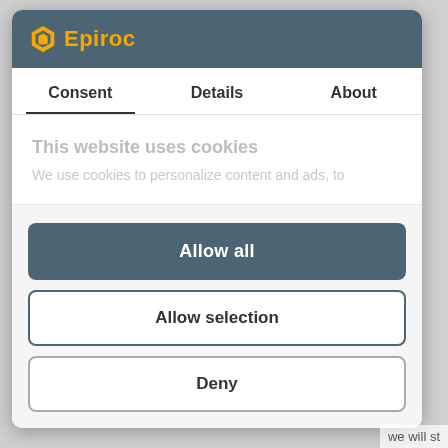[Figure (screenshot): Epiroc website cookie consent modal dialog with logo header, Consent/Details/About tabs, cookie notice text, and three buttons: Allow all, Allow selection, Deny]
Consent
Details
About
This website uses cookies
We use cookies to personalize content and ads, to
Allow all
Allow selection
Deny